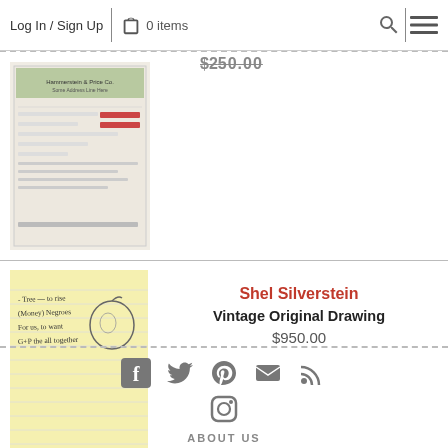Log In / Sign Up | 0 items
$250.00
[Figure (photo): Partially visible check or document with letterhead]
Shel Silverstein
Vintage Original Drawing
$950.00
[Figure (photo): Yellow notepad page with handwritten notes and a small sketch, Shel Silverstein original drawing]
[Figure (infographic): Social media icons: Facebook, Twitter, Pinterest, Email, RSS, Instagram]
ABOUT US